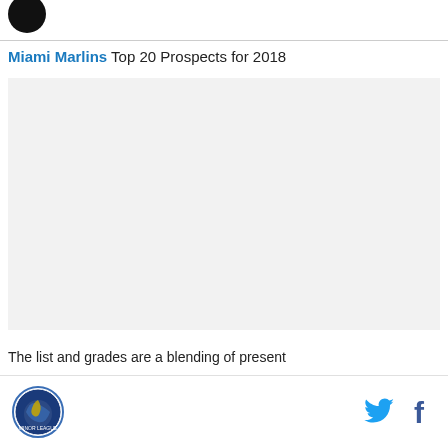[Figure (logo): Black circle logo at top left]
Miami Marlins Top 20 Prospects for 2018
[Figure (other): Advertisement placeholder box with light gray background]
The list and grades are a blending of present
Footer with league logo on left and Twitter and Facebook social icons on right